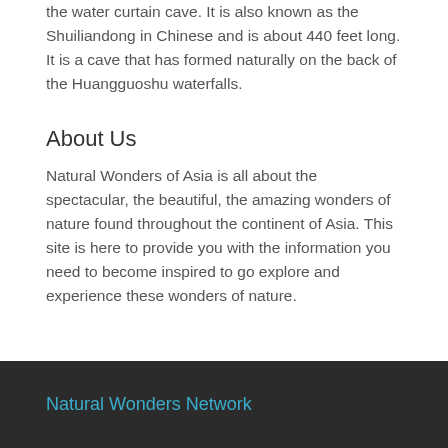the water curtain cave. It is also known as the Shuiliandong in Chinese and is about 440 feet long. It is a cave that has formed naturally on the back of the Huangguoshu waterfalls.
About Us
Natural Wonders of Asia is all about the spectacular, the beautiful, the amazing wonders of nature found throughout the continent of Asia. This site is here to provide you with the information you need to become inspired to go explore and experience these wonders of nature.
Natural Wonders Network